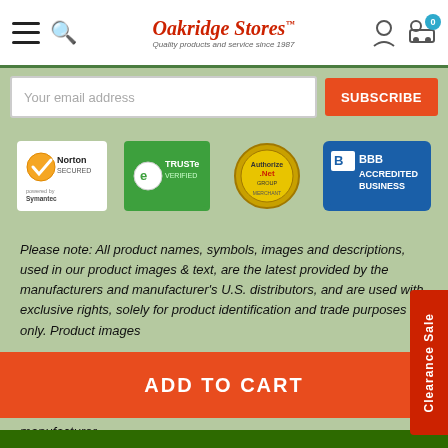Oakridge Stores — Quality products and service since 1987
Your email address
SUBSCRIBE
[Figure (logo): Norton Secured powered by Symantec badge]
[Figure (logo): TRUSTe Verified badge]
[Figure (logo): Authorize.Net badge]
[Figure (logo): BBB Accredited Business badge]
Please note: All product names, symbols, images and descriptions, used in our product images & text, are the latest provided by the manufacturers and manufacturer's U.S. distributors, and are used with exclusive rights, solely for product identification and trade purposes only. Product images...
ADD TO CART
manufacturer.
This website is not, in any way, affiliated with oakridgeco.com.
Home   Brands   Clearance   Gift Certificates   Blog